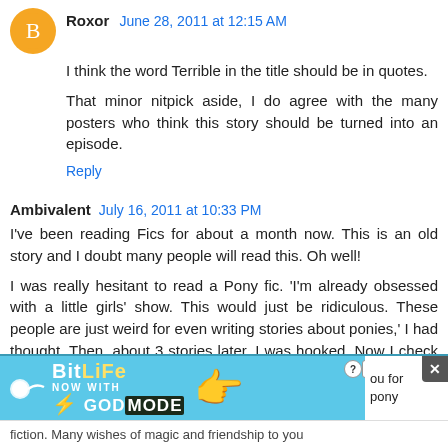Roxor  June 28, 2011 at 12:15 AM
I think the word Terrible in the title should be in quotes.
That minor nitpick aside, I do agree with the many posters who think this story should be turned into an episode.
Reply
Ambivalent  July 16, 2011 at 10:33 PM
I've been reading Fics for about a month now. This is an old story and I doubt many people will read this. Oh well!
I was really hesitant to read a Pony fic. 'I'm already obsessed with a little girls' show. This would just be ridiculous. These people are just weird for even writing stories about ponies,' I had thought. Then, about 3 stories later, I was hooked. Now I check EqD daily just to see if my favorite stories or authors have put out something new.
[Figure (screenshot): BitLife advertisement banner with 'NOW WITH GOD MODE' text and hand pointing graphic]
ou for pony fiction. Many wishes of magic and friendship to you